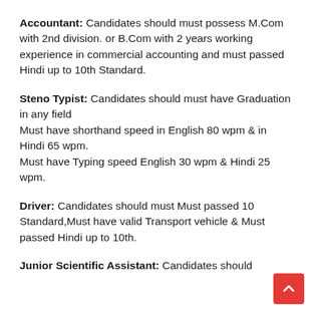Accountant: Candidates should must possess M.Com with 2nd division. or B.Com with 2 years working experience in commercial accounting and must passed Hindi up to 10th Standard.
Steno Typist: Candidates should must have Graduation in any field
Must have shorthand speed in English 80 wpm & in Hindi 65 wpm.
Must have Typing speed English 30 wpm & Hindi 25 wpm.
Driver: Candidates should must Must passed 10 Standard,Must have valid Transport vehicle & Must passed Hindi up to 10th.
Junior Scientific Assistant: Candidates should